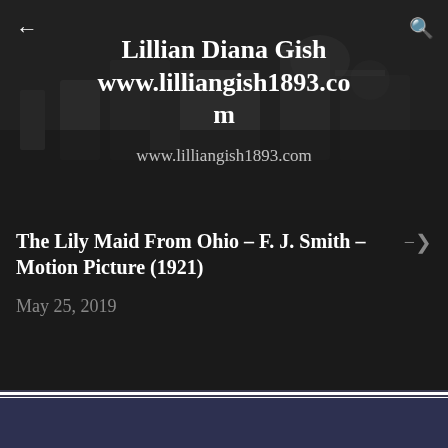[Figure (screenshot): Dark grainy black-and-white photo background with website header overlay showing 'Lillian Diana Gish' and 'www.lilliangish1893.com' text, with navigation back arrow and search icon]
Lillian Diana Gish
www.lilliangish1893.com
The Lily Maid From Ohio – F. J. Smith – Motion Picture (1921)
May 25, 2019